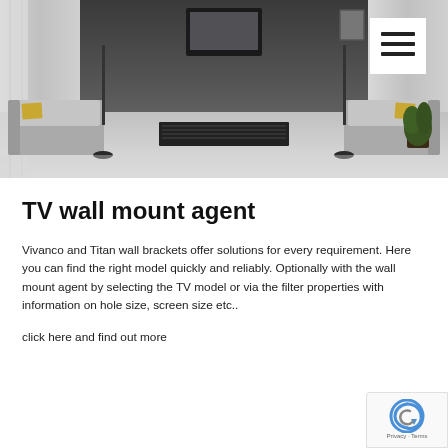[Figure (photo): Interior living room scene in grayscale showing sofas with yellow pillows, a black TV stand, wall-mounted TV, floor lamps, a plant, and curtains. A hamburger menu button is overlaid in the top-right corner.]
TV wall mount agent
Vivanco and Titan wall brackets offer solutions for every requirement. Here you can find the right model quickly and reliably. Optionally with the wall mount agent by selecting the TV model or via the filter properties with information on hole size, screen size etc..
click here and find out more